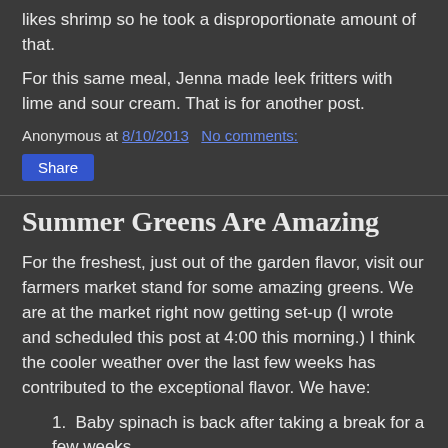likes shrimp so he took a disproportionate amount of that.
For this same meal, Jenna made leek fritters with lime and sour cream. That is for another post.
Anonymous at 8/10/2013   No comments:
Share
Summer Greens Are Amazing
For the freshest, just out of the garden flavor, visit our farmers market stand for some amazing greens. We are at the market right now getting set-up (I wrote and scheduled this post at 4:00 this morning.) I think the cooler weather over the last few weeks has contributed to the exceptional flavor. We have:
Baby spinach is back after taking a break for a few weeks.